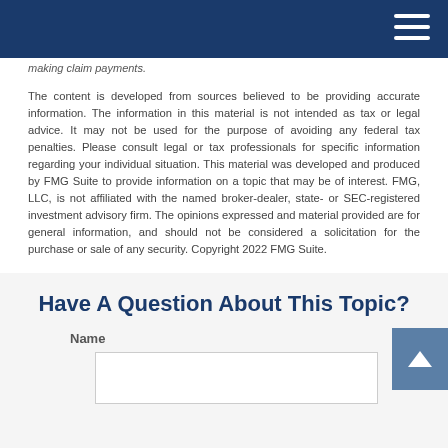making claim payments.
The content is developed from sources believed to be providing accurate information. The information in this material is not intended as tax or legal advice. It may not be used for the purpose of avoiding any federal tax penalties. Please consult legal or tax professionals for specific information regarding your individual situation. This material was developed and produced by FMG Suite to provide information on a topic that may be of interest. FMG, LLC, is not affiliated with the named broker-dealer, state- or SEC-registered investment advisory firm. The opinions expressed and material provided are for general information, and should not be considered a solicitation for the purchase or sale of any security. Copyright 2022 FMG Suite.
Share |
Have A Question About This Topic?
Name